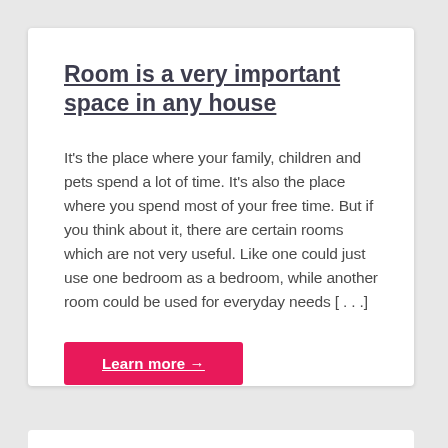Room is a very important space in any house
It's the place where your family, children and pets spend a lot of time. It's also the place where you spend most of your free time. But if you think about it, there are certain rooms which are not very useful. Like one could just use one bedroom as a bedroom, while another room could be used for everyday needs [...]
Learn more →